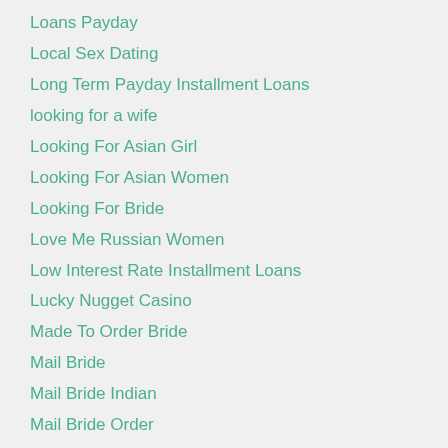Loans Payday
Local Sex Dating
Long Term Payday Installment Loans
looking for a wife
Looking For Asian Girl
Looking For Asian Women
Looking For Bride
Love Me Russian Women
Low Interest Rate Installment Loans
Lucky Nugget Casino
Made To Order Bride
Mail Bride
Mail Bride Indian
Mail Bride Order
Mail Order Bride
Mail Order Bride Catalog
Mail Order Bride Cost
Mail Order Bride Legal
Mail Order Bride Legality